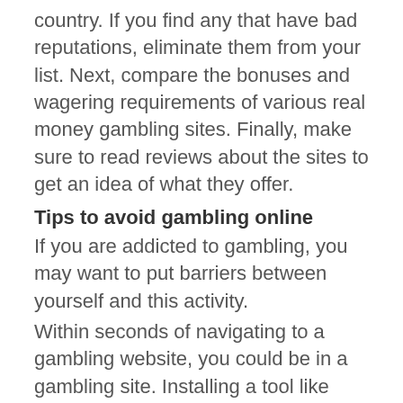country. If you find any that have bad reputations, eliminate them from your list. Next, compare the bonuses and wagering requirements of various real money gambling sites. Finally, make sure to read reviews about the sites to get an idea of what they offer.
Tips to avoid gambling online
If you are addicted to gambling, you may want to put barriers between yourself and this activity.
Within seconds of navigating to a gambling website, you could be in a gambling site. Installing a tool like Freedom App can interrupt this cycle by blocking harmful websites on your computer.
You can even schedule your blocking ahead of